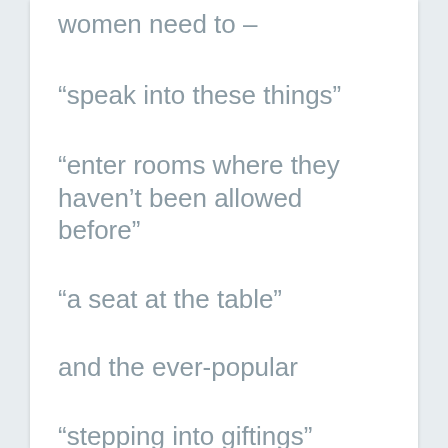women need to –
“speak into these things”
“enter rooms where they haven’t been allowed before”
“a seat at the table”
and the ever-popular
“stepping into giftings”